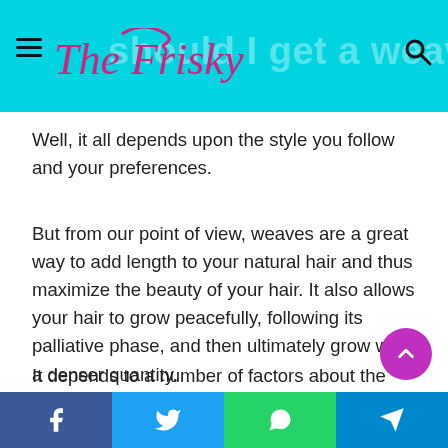The Frisky | should I get a weave
Well, it all depends upon the style you follow and your preferences.
But from our point of view, weaves are a great way to add length to your natural hair and thus maximize the beauty of your hair. It also allows your hair to grow peacefully, following its palliative phase, and then ultimately grow with a denser quantity.
What is the best type of weave?
It depends to a number of factors about the best type of
Facebook | Twitter | WhatsApp | Telegram